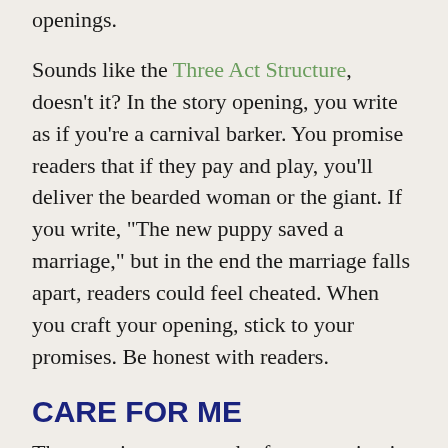openings.
Sounds like the Three Act Structure, doesn't it? In the story opening, you write as if you're a carnival barker. You promise readers that if they pay and play, you'll deliver the bearded woman or the giant. If you write, "The new puppy saved a marriage," but in the end the marriage falls apart, readers could feel cheated. When you craft your opening, stick to your promises. Be honest with readers.
CARE FOR ME
The most important task of any opening is to force readers to care. They must care enough to find out what happens to the character. Some call this likability, but some characters aren't very likable. Still, your best